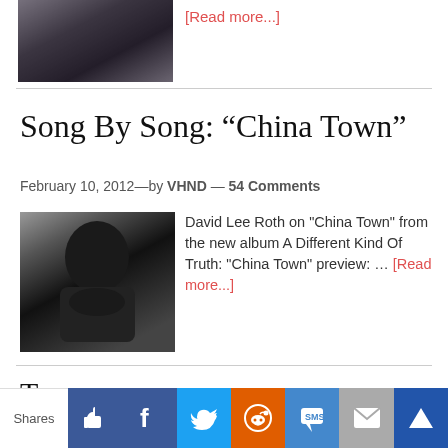[Figure (photo): Black and white thumbnail photo at top of page, partially visible]
[Read more...]
Song By Song: “China Town”
February 10, 2012—by VHND — 54 Comments
[Figure (photo): Black and white photo of David Lee Roth]
David Lee Roth on "China Town" from the new album A Different Kind Of Truth: "China Town" preview: … [Read more...]
T— (partial next article title cut off)
Shares | [Like] [Facebook] [Twitter] [Reddit] [SMS] [Mail] [More]